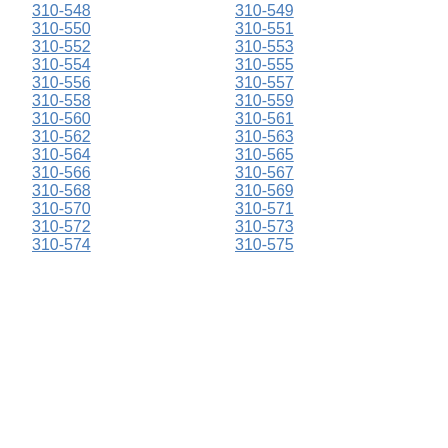310-548
310-549
310-550
310-551
310-552
310-553
310-554
310-555
310-556
310-557
310-558
310-559
310-560
310-561
310-562
310-563
310-564
310-565
310-566
310-567
310-568
310-569
310-570
310-571
310-572
310-573
310-574
310-575